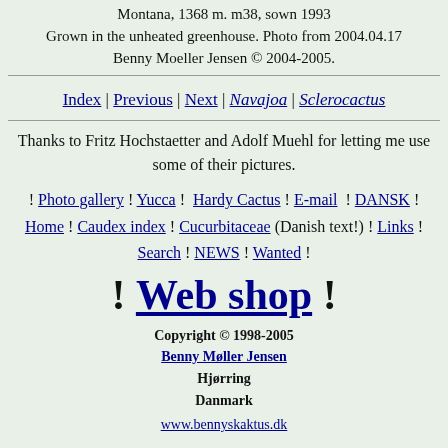Montana, 1368 m. m38, sown 1993 Grown in the unheated greenhouse. Photo from 2004.04.17 Benny Moeller Jensen © 2004-2005.
Index | Previous | Next | Navajoa | Sclerocactus
Thanks to Fritz Hochstaetter and Adolf Muehl for letting me use some of their pictures.
! Photo gallery ! Yucca ! Hardy Cactus ! E-mail ! DANSK ! Home ! Caudex index ! Cucurbitaceae (Danish text!) ! Links ! Search ! NEWS ! Wanted !
! Web shop !
Copyright © 1998-2005 Benny Møller Jensen Hjørring Danmark
www.bennyskaktus.dk